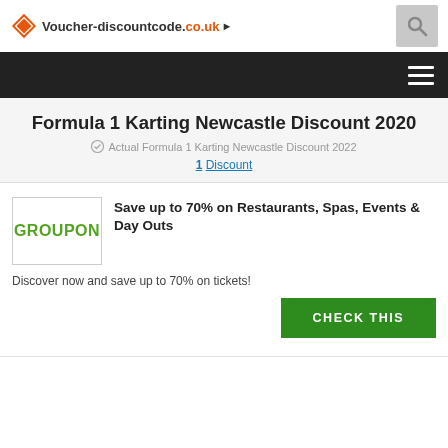Voucher-discountcode.co.uk
Formula 1 Karting Newcastle Discount 2020
Actual Formula 1 Karting Newcastle Discount 2022
1 Discount
[Figure (logo): Groupon logo — green text on white background inside a bordered box]
Save up to 70% on Restaurants, Spas, Events & Day Outs
Discover now and save up to 70% on tickets!
CHECK THIS